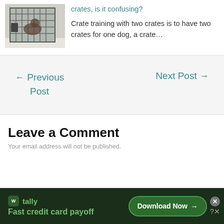[Figure (photo): Photo of a dog crate with metal wire grid, a dog partially visible inside]
crates, is it confusing?
Crate training with two crates is to have two crates for one dog, a crate…
← Previous Post
Next Post →
Leave a Comment
Your email address will not be published.
[Figure (infographic): Tally app advertisement banner: 'Fast credit card payoff' with Download Now button]